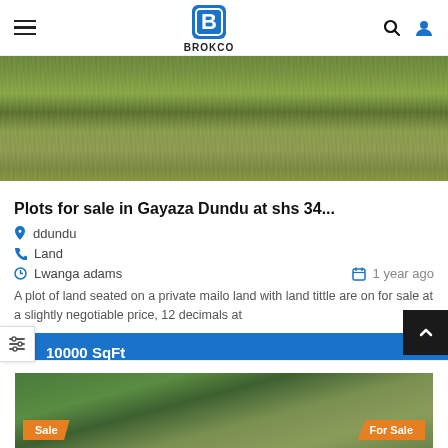BROKCO
[Figure (photo): Grassy land plot photograph showing green and brown grass]
Plots for sale in Gayaza Dundu at shs 34...
ddundu
Land
Lwanga adams   1 year ago
A plot of land seated on a private mailo land with land tittle are on for sale at a slightly negotiable price, 12 decimals at
10000 SqFt
[Figure (photo): Aerial view of land with Sale and For Sale badges]